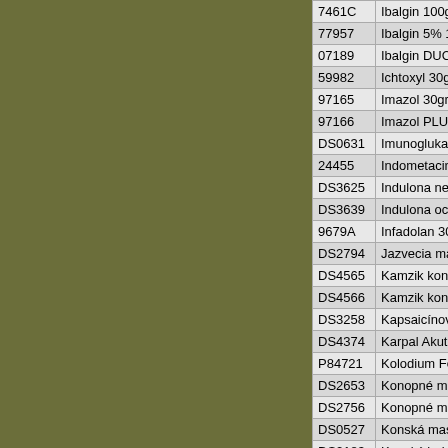| Code | Name |
| --- | --- |
| 7461C | Ibalgin 100g |
| 77957 | Ibalgin 5% 1 |
| 07189 | Ibalgin DUC |
| 59982 | Ichtoxyl 30g |
| 97165 | Imazol 30gr |
| 97166 | Imazol PLU |
| DS0631 | Imunogluka |
| 24455 | Indometacin |
| DS3625 | Indulona ne |
| DS3639 | Indulona oc |
| 9679A | Infadolan 30 |
| DS2794 | Jazvecia ma |
| DS4565 | Kamzik kon |
| DS4566 | Kamzik kon |
| DS3258 | Kapsaicínov |
| DS4374 | Karpal Akut |
| P84721 | Kolodium Fe |
| DS2653 | Konopné ma |
| DS2756 | Konopné ma |
| DS0527 | Konská mas |
| DS2183 | Konský balz |
| DS0819 | Konský balz |
| DS0952 | Konský balz |
| DS1651 | Konský balz |
| DS0125 | Kostihojová |